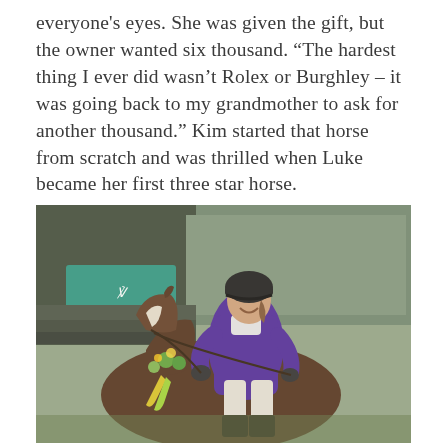everyone's eyes. She was given the gift, but the owner wanted six thousand. “The hardest thing I ever did wasn’t Rolex or Burghley – it was going back to my grandmother to ask for another thousand.” Kim started that horse from scratch and was thrilled when Luke became her first three star horse.
[Figure (photo): A rider in a purple jacket and black helmet sitting on a brown horse decorated with flowers and ribbons, smiling at a competition event, with green banners and trees in the background.]